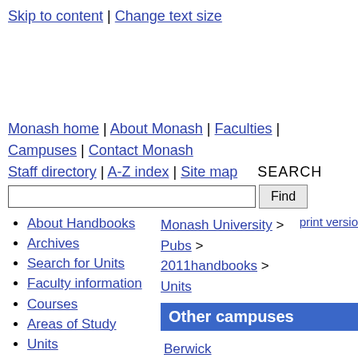Skip to content | Change text size
Monash home | About Monash | Faculties | Campuses | Contact Monash
Staff directory | A-Z index | Site map    SEARCH
[Search input] Find
About Handbooks
Archives
Search for Units
Faculty information
Courses
Areas of Study
Units
Monash University > Pubs > 2011handbooks > Units
print version
Other campuses
Berwick
Caulfield
Clayton
Gippsland
Parkville